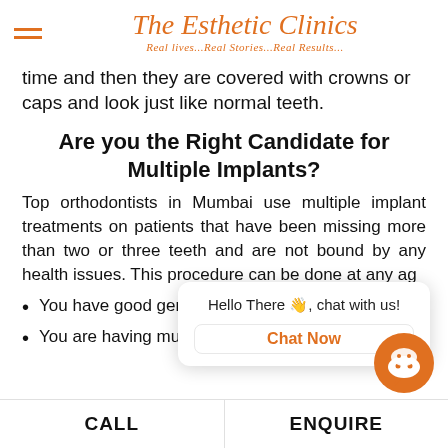The Esthetic Clinics — Real lives...Real Stories...Real Results...
time and then they are covered with crowns or caps and look just like normal teeth.
Are you the Right Candidate for Multiple Implants?
Top orthodontists in Mumbai use multiple implant treatments on patients that have been missing more than two or three teeth and are not bound by any health issues. This procedure can be done at any ag
You have good general (medi…
You are having multiple teeth missing and are